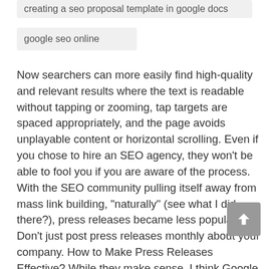creating a seo proposal template in google docs
google seo online
Now searchers can more easily find high-quality and relevant results where the text is readable without tapping or zooming, tap targets are spaced appropriately, and the page avoids unplayable content or horizontal scrolling. Even if you chose to hire an SEO agency, they won't be able to fool you if you are aware of the process. With the SEO community pulling itself away from mass link building, “naturally” (see what I did there?), press releases became less popular. Don’t just post press releases monthly about your company. How to Make Press Releases Effective? While they make sense, I think Google is just scratching the surface of their potential. RankBrain may think so and push out